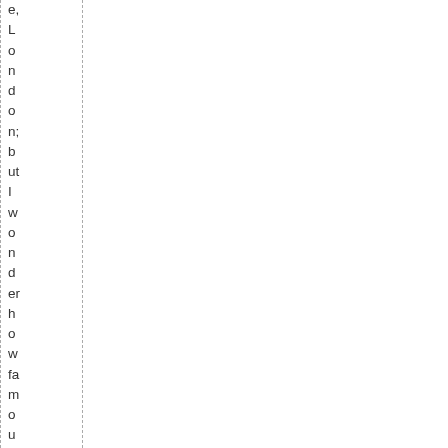e,
L
o
n
d
o
n;
b
ut
I
w
o
n
d
er
h
o
w
fa
m
o
u
s
D
ar
t
a
ct
u
all